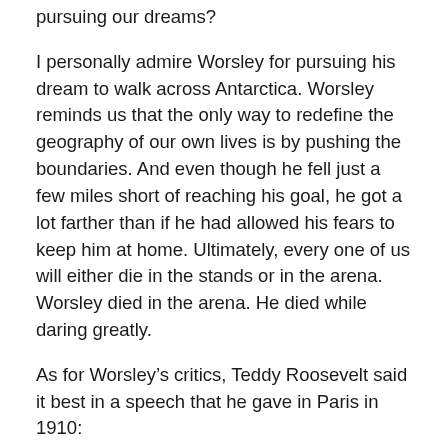pursuing our dreams?
I personally admire Worsley for pursuing his dream to walk across Antarctica. Worsley reminds us that the only way to redefine the geography of our own lives is by pushing the boundaries. And even though he fell just a few miles short of reaching his goal, he got a lot farther than if he had allowed his fears to keep him at home. Ultimately, every one of us will either die in the stands or in the arena. Worsley died in the arena. He died while daring greatly.
As for Worsley’s critics, Teddy Roosevelt said it best in a speech that he gave in Paris in 1910:
“It is not the critic who counts; not the man who points out how the strong man stumbles, or where the doer of deeds could have done them better. The credit belongs to the man who is actually in the arena, whose face is marred by